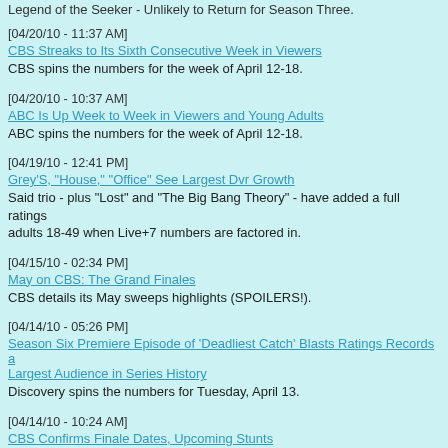Legend of the Seeker - Unlikely to Return for Season Three.
[04/20/10 - 11:37 AM] CBS Streaks to Its Sixth Consecutive Week in Viewers — CBS spins the numbers for the week of April 12-18.
[04/20/10 - 10:37 AM] ABC Is Up Week to Week in Viewers and Young Adults — ABC spins the numbers for the week of April 12-18.
[04/19/10 - 12:41 PM] Grey'S, "House," "Office" See Largest Dvr Growth — Said trio - plus "Lost" and "The Big Bang Theory" - have added a full ratings adults 18-49 when Live+7 numbers are factored in.
[04/15/10 - 02:34 PM] May on CBS: The Grand Finales — CBS details its May sweeps highlights (SPOILERS!).
[04/14/10 - 05:26 PM] Season Six Premiere Episode of 'Deadliest Catch' Blasts Ratings Records a Largest Audience in Series History — Discovery spins the numbers for Tuesday, April 13.
[04/14/10 - 10:24 AM] CBS Confirms Finale Dates, Upcoming Stunts — Among its plans: "The Big Bang Theory" to get a 9:00/8:00c showcase on M